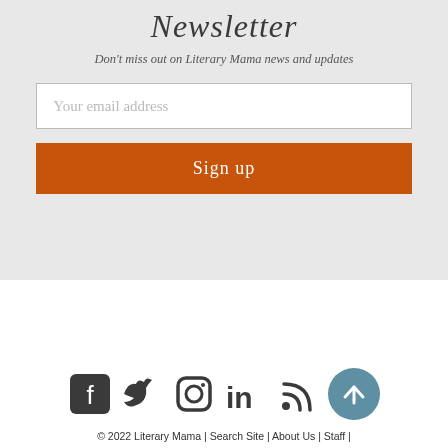Newsletter
Don't miss out on Literary Mama news and updates
Your email address
Sign up
[Figure (infographic): Social media icons: Facebook, Twitter, Instagram, LinkedIn, RSS feed, and a back-to-top arrow button]
© 2022 Literary Mama | Search Site | About Us | Staff |